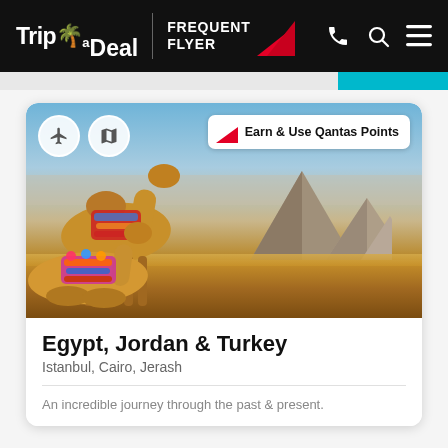Trip a Deal | FREQUENT FLYER (Qantas)
[Figure (photo): Camels with colorful saddles in front of the Egyptian pyramids at Giza, with sandy desert in the foreground and blue sky above. Overlaid with two circular icon buttons (plane, map) on top-left, and a 'Earn & Use Qantas Points' badge on top-right.]
Egypt, Jordan & Turkey
Istanbul, Cairo, Jerash
An incredible journey through the past & present.